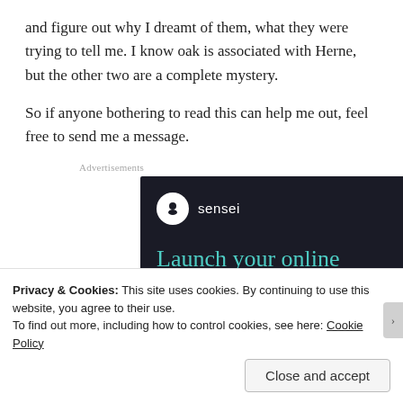and figure out why I dreamt of them, what they were trying to tell me. I know oak is associated with Herne, but the other two are a complete mystery.
So if anyone bothering to read this can help me out, feel free to send me a message.
Advertisements
[Figure (screenshot): Sensei advertisement with dark background showing logo and headline 'Launch your online course with WordPress']
Privacy & Cookies: This site uses cookies. By continuing to use this website, you agree to their use.
To find out more, including how to control cookies, see here: Cookie Policy
Close and accept